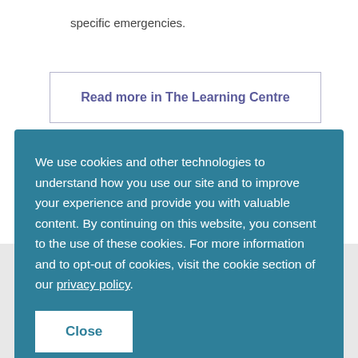specific emergencies.
Read more in The Learning Centre
We use cookies and other technologies to understand how you use our site and to improve your experience and provide you with valuable content. By continuing on this website, you consent to the use of these cookies. For more information and to opt-out of cookies, visit the cookie section of our privacy policy.
Close